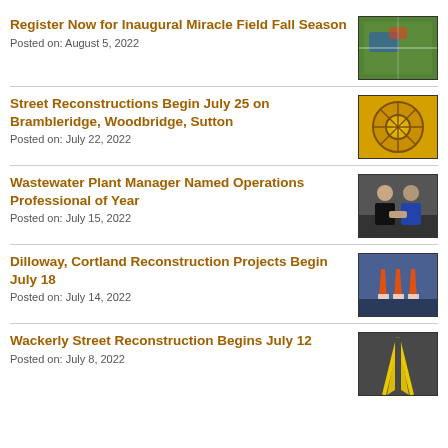Register Now for Inaugural Miracle Field Fall Season
Posted on: August 5, 2022
[Figure (photo): Aerial view of colorful field/turf with decorative patterns]
Street Reconstructions Begin July 25 on Brambleridge, Woodbridge, Sutton
Posted on: July 22, 2022
[Figure (photo): Yellow construction wheel/drum equipment]
Wastewater Plant Manager Named Operations Professional of Year
Posted on: July 15, 2022
[Figure (photo): Two men in suits shaking hands at an event]
Dilloway, Cortland Reconstruction Projects Begin July 18
Posted on: July 14, 2022
[Figure (photo): Stack of orange and white traffic cones]
Wackerly Street Reconstruction Begins July 12
Posted on: July 8, 2022
[Figure (photo): Yellow road lines painted on dark asphalt]